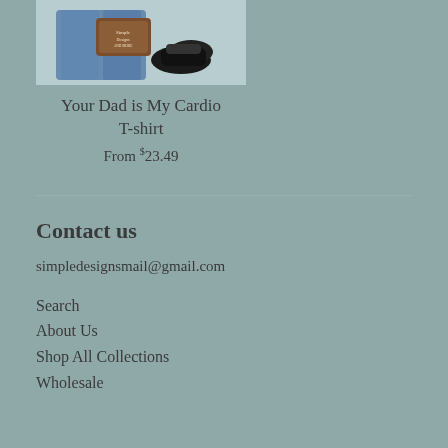[Figure (photo): Product photo of 'Your Dad is My Cardio' T-shirt showing jeans, sneakers, and a logo tag]
Your Dad is My Cardio T-shirt
From $23.49
Contact us
simpledesignsmail@gmail.com
Search
About Us
Shop All Collections
Wholesale